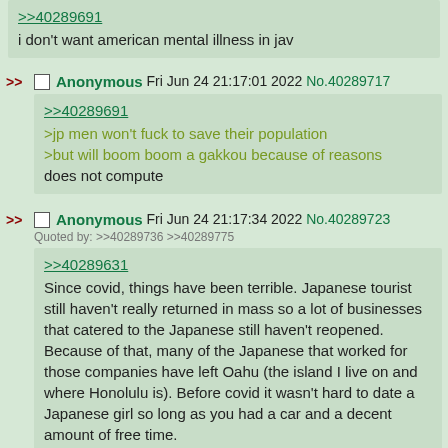>>40289691
i don't want american mental illness in jav
Anonymous Fri Jun 24 21:17:01 2022 No.40289717
>>40289691
>jp men won't fuck to save their population
>but will boom boom a gakkou because of reasons
does not compute
Anonymous Fri Jun 24 21:17:34 2022 No.40289723
Quoted by: >>40289736 >>40289775
>>40289631
Since covid, things have been terrible. Japanese tourist still haven't really returned in mass so a lot of businesses that catered to the Japanese still haven't reopened. Because of that, many of the Japanese that worked for those companies have left Oahu (the island I live on and where Honolulu is). Before covid it wasn't hard to date a Japanese girl so long as you had a car and a decent amount of free time.